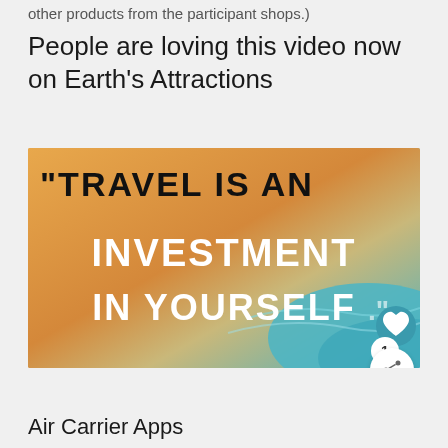other products from the participant shops.)
People are loving this video now on Earth's Attractions
[Figure (photo): Promotional image with text overlay on a sandy beach/ocean background reading: "TRAVEL IS AN INVESTMENT IN YOURSELF" with a heart icon and share button visible]
Air Carrier Apps